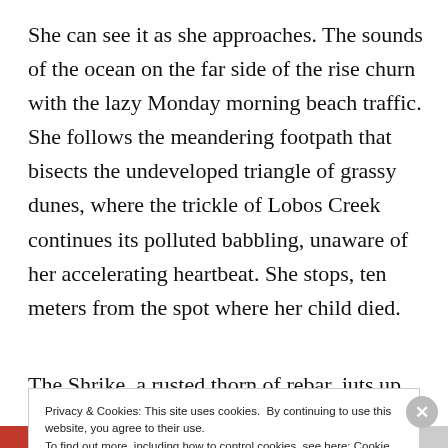She can see it as she approaches. The sounds of the ocean on the far side of the rise churn with the lazy Monday morning beach traffic. She follows the meandering footpath that bisects the undeveloped triangle of grassy dunes, where the trickle of Lobos Creek continues its polluted babbling, unaware of her accelerating heartbeat. She stops, ten meters from the spot where her child died.
The Shrike, a rusted thorn of rebar, juts up from the
Privacy & Cookies: This site uses cookies. By continuing to use this website, you agree to their use.
To find out more, including how to control cookies, see here: Cookie Policy
Close and accept